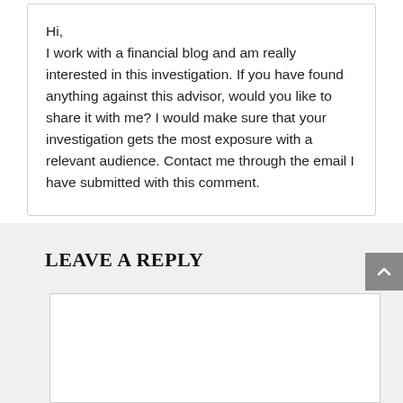Hi,
I work with a financial blog and am really interested in this investigation. If you have found anything against this advisor, would you like to share it with me? I would make sure that your investigation gets the most exposure with a relevant audience. Contact me through the email I have submitted with this comment.
LEAVE A REPLY